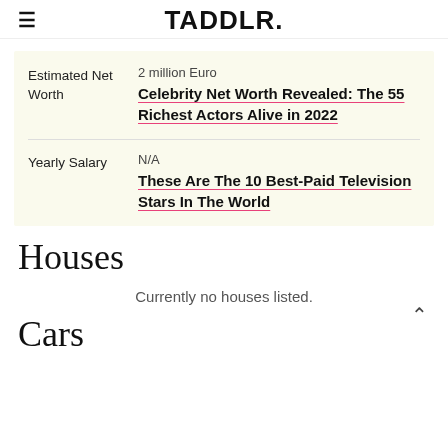TADDLR.
|  |  |
| --- | --- |
| Estimated Net Worth | 2 million Euro
Celebrity Net Worth Revealed: The 55 Richest Actors Alive in 2022 |
| Yearly Salary | N/A
These Are The 10 Best-Paid Television Stars In The World |
Houses
Currently no houses listed.
Cars